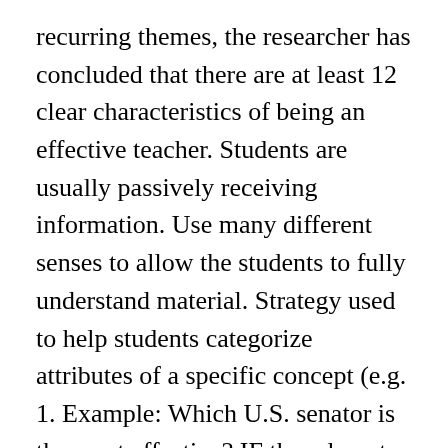recurring themes, the researcher has concluded that there are at least 12 clear characteristics of being an effective teacher. Students are usually passively receiving information. Use many different senses to allow the students to fully understand material. Strategy used to help students categorize attributes of a specific concept (e.g. 1. Example: Which U.S. senator is the most effective? IF they do not do well the first time, reteach the material in a different way. Assessing Performance, 9.) Statements, sometimes inferential in nature, that describe a relationship between two or more concepts. Monitoring activities, explaining rules, Authority, very relate to Classroom Management...